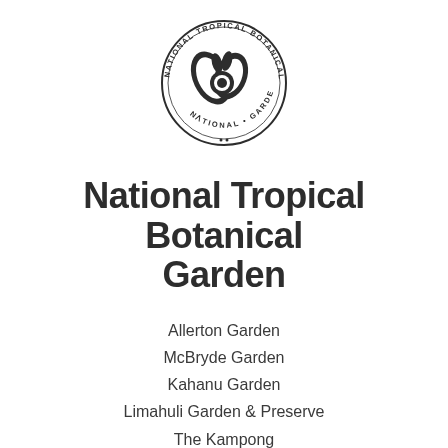[Figure (logo): National Tropical Botanical Garden circular seal/logo with botanical illustration in center and text around the border reading 'NATIONAL TROPICAL BOTANICAL GARDEN']
National Tropical Botanical Garden
Allerton Garden
McBryde Garden
Kahanu Garden
Limahuli Garden & Preserve
The Kampong
(808) 332-7324
administration@ntbg.org